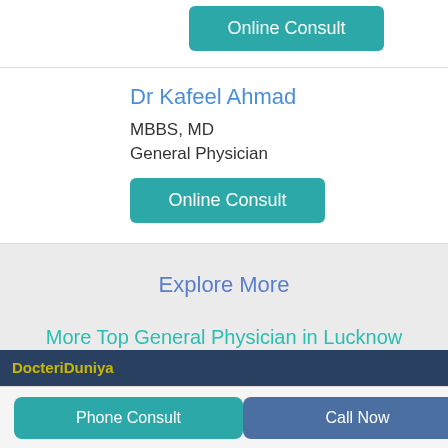Online Consult
Dr Kafeel Ahmad
MBBS, MD
General Physician
Online Consult
Explore More
More Top General Physician in Lucknow
Doctors List in Lucknow
DocteriDuniya
Phone Consult
Call Now